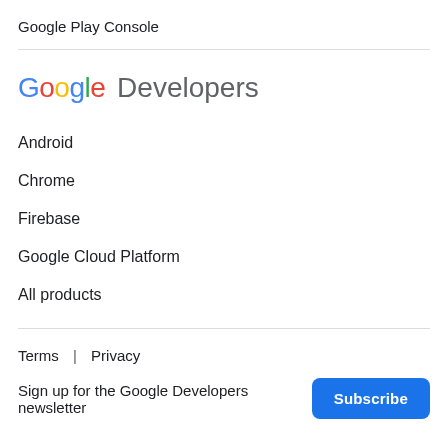Google Play Console
[Figure (logo): Google Developers logo with colorful Google text and grey Developers text]
Android
Chrome
Firebase
Google Cloud Platform
All products
Terms  |  Privacy
Sign up for the Google Developers newsletter
Subscribe